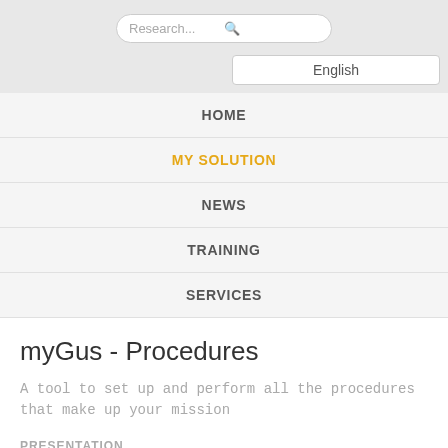Research... [search icon]
English
HOME
MY SOLUTION
NEWS
TRAINING
SERVICES
myGus - Procedures
A tool to set up and perform all the procedures that make up your mission
PRESENTATION